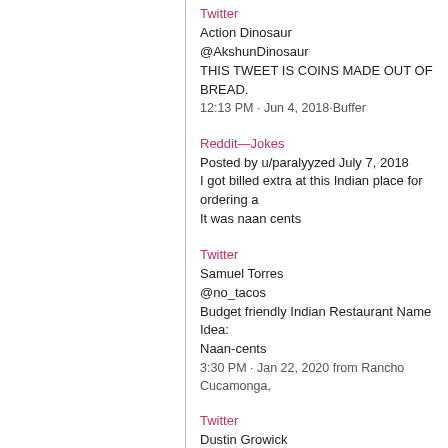Twitter
Action Dinosaur
@AkshunDinosaur
THIS TWEET IS COINS MADE OUT OF BREAD.
12:13 PM · Jun 4, 2018·Buffer
Reddit—Jokes
Posted by u/paralyyzed July 7, 2018
I got billed extra at this Indian place for ordering a
It was naan cents
Twitter
Samuel Torres
@no_tacos
Budget friendly Indian Restaurant Name Idea:
Naan-cents
3:30 PM · Jan 22, 2020 from Rancho Cucamonga,
Twitter
Dustin Growick
@DustinGrowick
Using all the coins in your piggy bank to buy Indian
savings into naan cents
9:52 AM · May 24, 2020·Twitter for iPhone